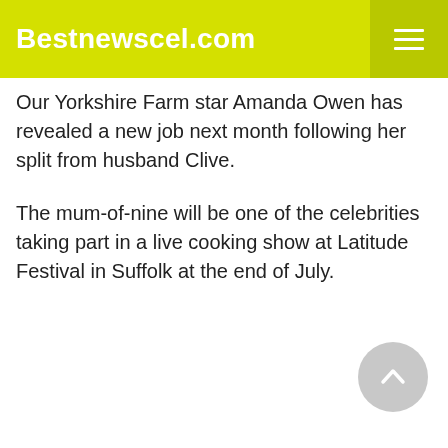Bestnewscel.com
Our Yorkshire Farm star Amanda Owen has revealed a new job next month following her split from husband Clive.
The mum-of-nine will be one of the celebrities taking part in a live cooking show at Latitude Festival in Suffolk at the end of July.